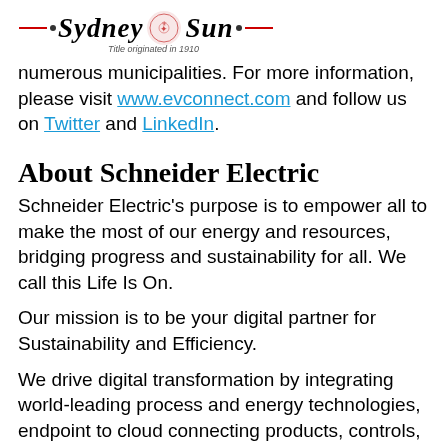Sydney Sun — Title originated in 1910
numerous municipalities. For more information, please visit www.evconnect.com and follow us on Twitter and LinkedIn.
About Schneider Electric
Schneider Electric's purpose is to empower all to make the most of our energy and resources, bridging progress and sustainability for all. We call this Life Is On.
Our mission is to be your digital partner for Sustainability and Efficiency.
We drive digital transformation by integrating world-leading process and energy technologies, endpoint to cloud connecting products, controls, software,